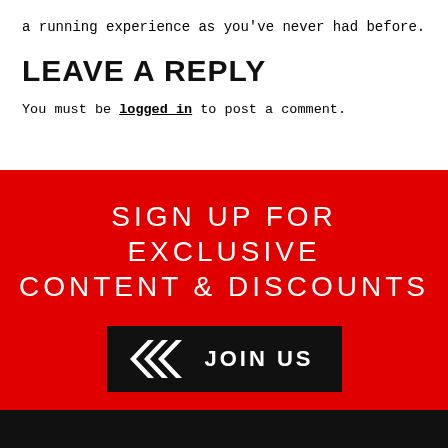a running experience as you've never had before.
LEAVE A REPLY
You must be logged in to post a comment.
SIGN UP FOR EXCLUSIVE CONTENT & DISCOUNTS
[Figure (other): Black button with chevron arrows and text JOIN US]